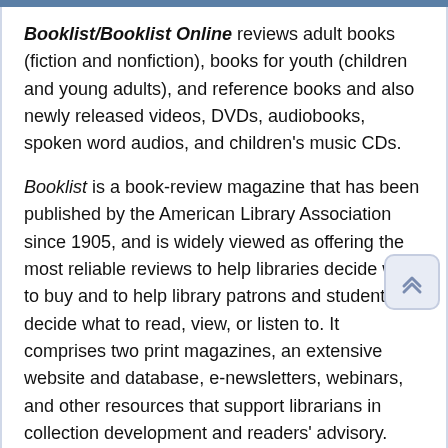Booklist/Booklist Online reviews adult books (fiction and nonfiction), books for youth (children and young adults), and reference books and also newly released videos, DVDs, audiobooks, spoken word audios, and children's music CDs.
Booklist is a book-review magazine that has been published by the American Library Association since 1905, and is widely viewed as offering the most reliable reviews to help libraries decide what to buy and to help library patrons and students decide what to read, view, or listen to. It comprises two print magazines, an extensive website and database, e-newsletters, webinars, and other resources that support librarians in collection development and readers' advisory.
Booklist Online is the web version of the Booklist print magazine. The full Booklist Online database contains more than 170,000 reviews and thousands of features dating back to 1992 and 8,000 new reviews and related features every year.
A quarterly supplement to Booklist free to Booklist subscribers